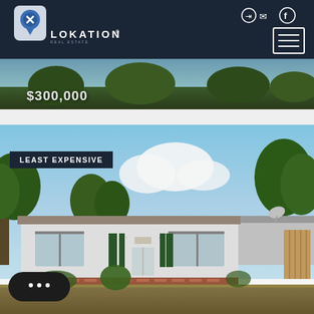[Figure (logo): Lokation Real Estate logo with location pin icon on dark navy background]
$300,000
[Figure (photo): Exterior photo of a single-story ranch-style house with green trees, blue sky, white walls, green shutters, and dry lawn — labeled LEAST EXPENSIVE]
LEAST EXPENSIVE